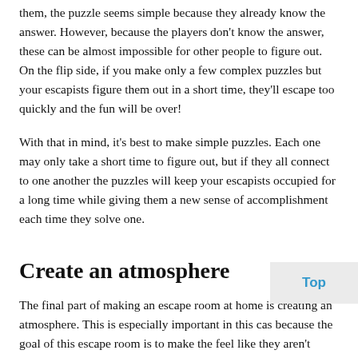them, the puzzle seems simple because they already know the answer. However, because the players don't know the answer, these can be almost impossible for other people to figure out. On the flip side, if you make only a few complex puzzles but your escapists figure them out in a short time, they'll escape too quickly and the fun will be over!
With that in mind, it's best to make simple puzzles. Each one may only take a short time to figure out, but if they all connect to one another the puzzles will keep your escapists occupied for a long time while giving them a new sense of accomplishment each time they solve one.
Create an atmosphere
The final part of making an escape room at home is creating an atmosphere. This is especially important in this cas because the goal of this escape room is to make the feel like they aren't actually at home, and convincing people of that can be difficult. However, there are two main things to